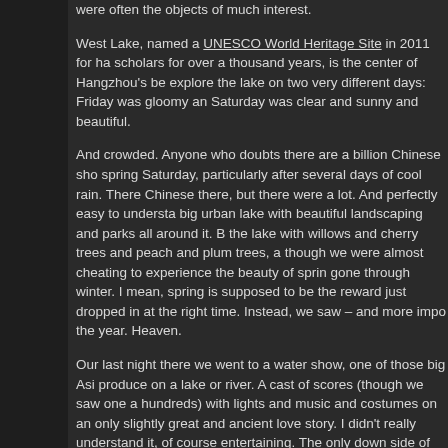were often the objects of much interest.
West Lake, named a UNESCO World Heritage Site in 2011 for ha scholars for over a thousand years, is the center of Hangzhou's be explore the lake on two very different days: Friday was gloomy an Saturday was clear and sunny and beautiful.
And crowded. Anyone who doubts there are a billion Chinese sho spring Saturday, particularly after several days of cool rain. There Chinese there, but there were a lot. And perfectly easy to understa big urban lake with beautiful landscaping and parks all around it. B the lake with willows and cherry trees and peach and plum trees, a though we were almost cheating to experience the beauty of sprin gone through winter. I mean, spring is supposed to be the reward just dropped in at the right time. Instead, we saw – and more impo the year. Heaven.
Our last night there we went to a water show, one of those big Asi produce on a lake or river. A cast of scores (though we saw one a hundreds) with lights and music and costumes on an only slightly great and ancient love story. I didn't really understand it, of course entertaining. The only down side of the evening is that for whe